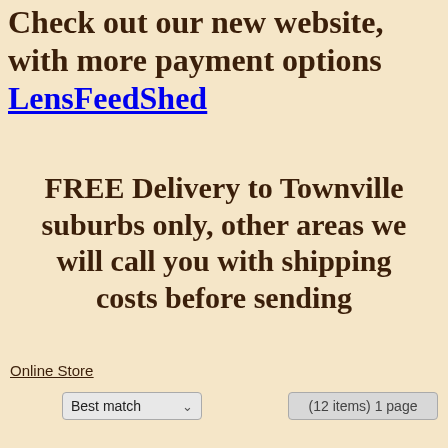Check out our new website, with more payment options LensFeedShed
FREE Delivery to Townville suburbs only, other areas we will call you with shipping costs before sending
Online Store
Best match
(12 items) 1 page